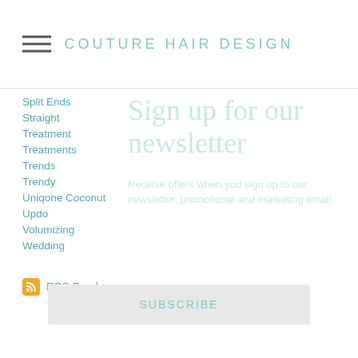COUTURE HAIR DESIGN
Split Ends
Straight
Treatment
Treatments
Trends
Trendy
Uniqone Coconut
Updo
Volumizing
Wedding
Sign up for our newsletter
Receive offers when you sign up to our newsletter, promotional and marketing email.
RSS Feed
SUBSCRIBE